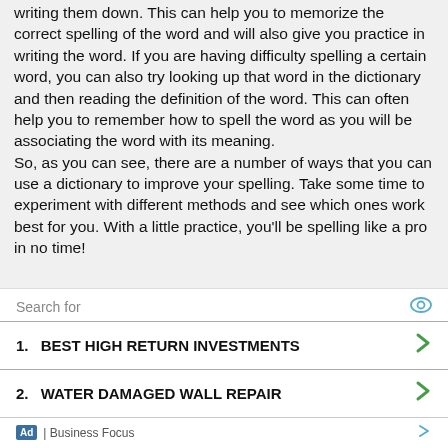writing them down. This can help you to memorize the correct spelling of the word and will also give you practice in writing the word. If you are having difficulty spelling a certain word, you can also try looking up that word in the dictionary and then reading the definition of the word. This can often help you to remember how to spell the word as you will be associating the word with its meaning. So, as you can see, there are a number of ways that you can use a dictionary to improve your spelling. Take some time to experiment with different methods and see which ones work best for you. With a little practice, you'll be spelling like a pro in no time!
Search for
1. BEST HIGH RETURN INVESTMENTS
2. WATER DAMAGED WALL REPAIR
Ad | Business Focus